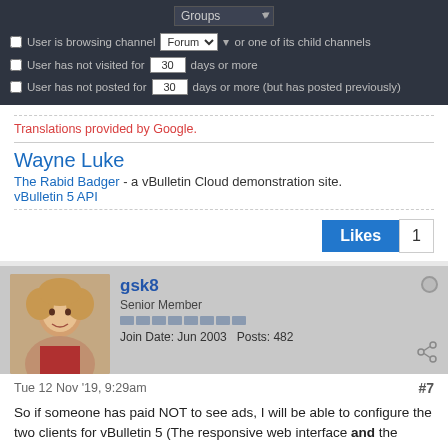[Figure (screenshot): Dark UI panel showing form controls: Groups dropdown, checkboxes for browsing channel (Forum), not visited (30 days), not posted (30 days)]
Translations provided by Google.
Wayne Luke
The Rabid Badger - a vBulletin Cloud demonstration site.
vBulletin 5 API
Likes 1
gsk8
Senior Member
Join Date: Jun 2003  Posts: 482
Tue 12 Nov '19, 9:29am #7
So if someone has paid NOT to see ads, I will be able to configure the two clients for vBulletin 5 (The responsive web interface and the